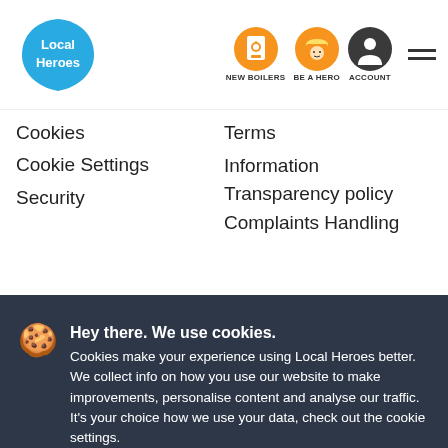[Figure (logo): Local Heroes blue teardrop logo with white text]
[Figure (infographic): New Boilers icon - orange circle with boiler graphic]
[Figure (infographic): Be a Hero icon - orange circle with worker in hard hat]
[Figure (infographic): Account icon - dark circle with person silhouette]
Cookies
Cookie Settings
Security
Terms
Information Transparency policy
Complaints Handling policy
Hey there. We use cookies. Cookies make your experience using Local Heroes better. We collect info on how you use our website to make improvements, personalise content and analyse our traffic. It's your choice how we use your data, check out the cookie settings.
Accept Cookies
Cookie Settings